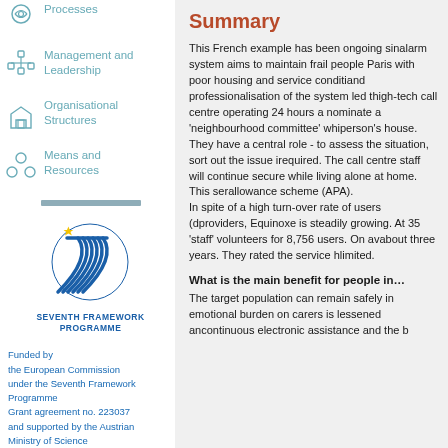Processes
Management and Leadership
Organisational Structures
Means and Resources
[Figure (logo): Seventh Framework Programme EU logo with blue curved lines forming a '7' shape]
Funded by the European Commission under the Seventh Framework Programme Grant agreement no. 223037 and supported by the Austrian Ministry of Science
Summary
This French example has been ongoing since… alarm system aims to maintain frail people in Paris with poor housing and service conditions and professionalisation of the system led to high-tech call centre operating 24 hours a day nominate a 'neighbourhood committee' which person's house. They have a central role - to assess the situation, sort out the issue if required. The call centre staff will continue secure while living alone at home. This service allowance scheme (APA). In spite of a high turn-over rate of users (de providers, Equinoxe is steadily growing. At 35 'staff' volunteers for 8,756 users. On average about three years. They rated the service h limited.
What is the main benefit for people in…
The target population can remain safely in their home. The emotional burden on carers is lessened and continuous electronic assistance and the ba…